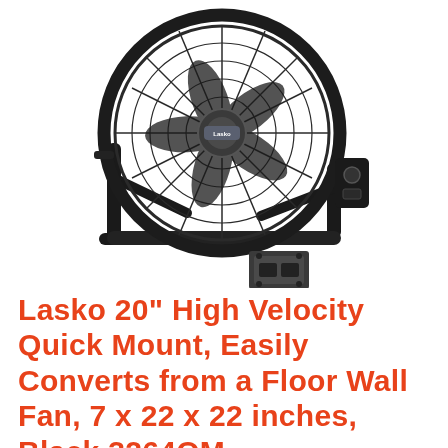[Figure (photo): Black Lasko 20-inch high velocity floor/wall fan with circular wire grille, metal stand/base, and side-mounted control box. A separate wall mounting bracket is shown beneath the fan.]
Lasko 20" High Velocity Quick Mount, Easily Converts from a Floor Wall Fan, 7 x 22 x 22 inches, Black 3264QM